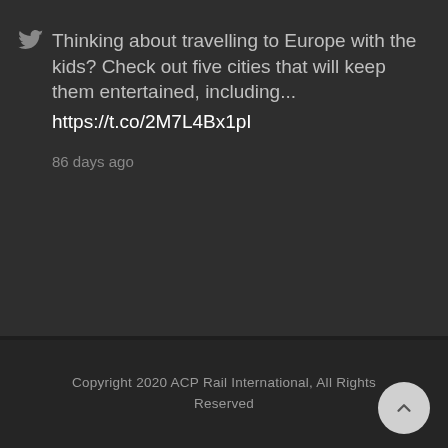Thinking about travelling to Europe with the kids? Check out five cities that will keep them entertained, including... https://t.co/2M7L4Bx1pI
86 days ago
Copyright 2020 ACP Rail International, All Rights Reserved